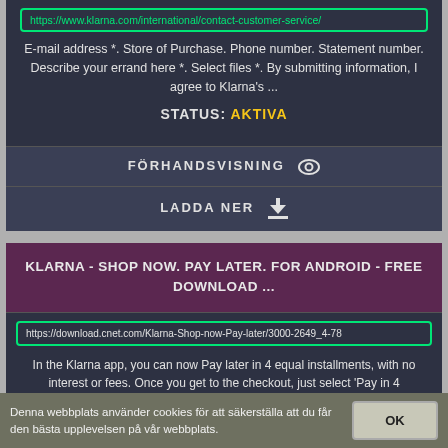https://www.klarna.com/international/contact-customer-service/
E-mail address *. Store of Purchase. Phone number. Statement number. Describe your errand here *. Select files *. By submitting information, I agree to Klarna's ...
STATUS: AKTIVA
FÖRHANDSVISNING
LADDA NER
KLARNA - SHOP NOW. PAY LATER. FOR ANDROID - FREE DOWNLOAD ...
https://download.cnet.com/Klarna-Shop-now-Pay-later/3000-2649_4-78
In the Klarna app, you can now Pay later in 4 equal installments, with no interest or fees. Once you get to the checkout, just select 'Pay in 4
Denna webbplats använder cookies för att säkerställa att du får den bästa upplevelsen på vår webbplats.